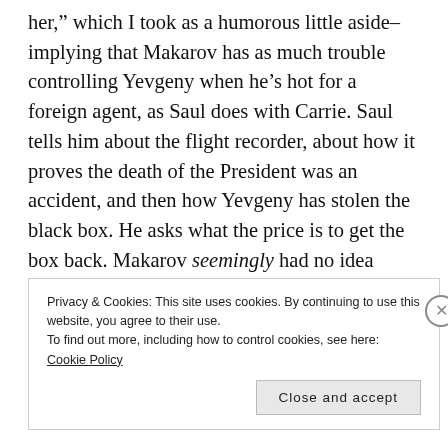her,” which I took as a humorous little aside–implying that Makarov has as much trouble controlling Yevgeny when he’s hot for a foreign agent, as Saul does with Carrie. Saul tells him about the flight recorder, about how it proves the death of the President was an accident, and then how Yevgeny has stolen the black box. He asks what the price is to get the box back. Makarov seemingly had no idea about this, but of course you can never tell.

Carrie prepares to exit Arman’s truck with a gun, telling him she’s hoping to find the man who’d
Privacy & Cookies: This site uses cookies. By continuing to use this website, you agree to their use.
To find out more, including how to control cookies, see here: Cookie Policy
Close and accept